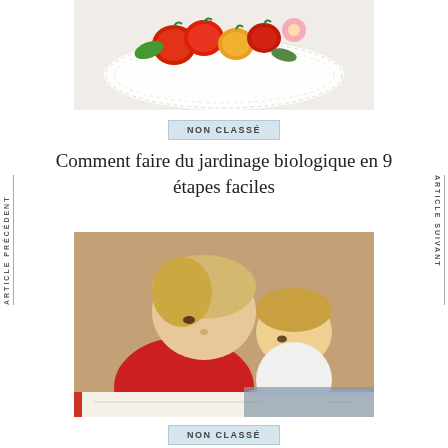[Figure (photo): Photo of colorful fruits/vegetables including red and yellow tomatoes on a white decorative doily plate]
NON CLASSÉ
Comment faire du jardinage biologique en 9 étapes faciles
ARTICLE PRÉCÉDENT
ARTICLE SUIVANT
[Figure (photo): Photo of two young children writing with pencils in a notebook, viewed from above]
NON CLASSÉ